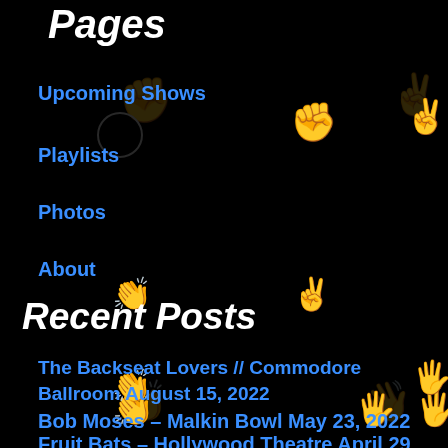Pages
Upcoming Shows
Playlists
Photos
About
Recent Posts
The Backseat Lovers // Commodore Ballroom August 15, 2022
Bob Moses – Malkin Bowl May 23, 2022
Fruit Bats – Hollywood Theatre April 29,